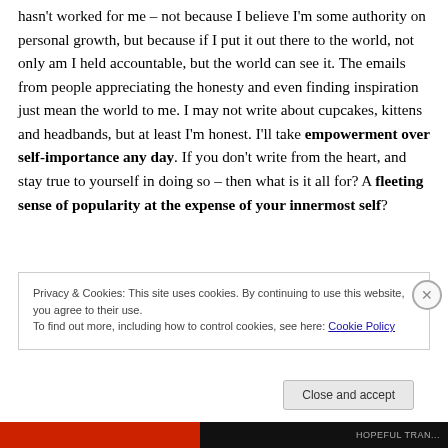hasn't worked for me – not because I believe I'm some authority on personal growth, but because if I put it out there to the world, not only am I held accountable, but the world can see it. The emails from people appreciating the honesty and even finding inspiration just mean the world to me. I may not write about cupcakes, kittens and headbands, but at least I'm honest. I'll take empowerment over self-importance any day. If you don't write from the heart, and stay true to yourself in doing so – then what is it all for? A fleeting sense of popularity at the expense of your innermost self?
Privacy & Cookies: This site uses cookies. By continuing to use this website, you agree to their use.
To find out more, including how to control cookies, see here: Cookie Policy